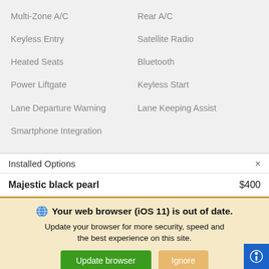Multi-Zone A/C
Rear A/C
Keyless Entry
Satellite Radio
Heated Seats
Bluetooth
Power Liftgate
Keyless Start
Lane Departure Warning
Lane Keeping Assist
Smartphone Integration
Installed Options
Majestic black pearl  $400
Your web browser (iOS 11) is out of date. Update your browser for more security, speed and the best experience on this site.